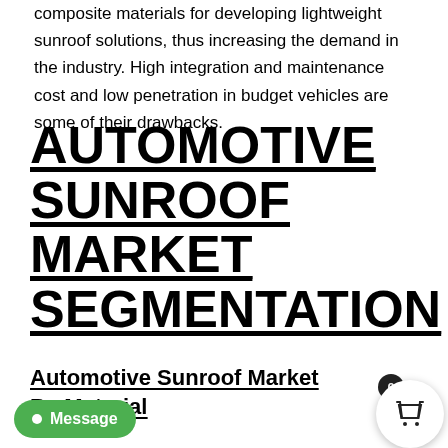composite materials for developing lightweight sunroof solutions, thus increasing the demand in the industry. High integration and maintenance cost and low penetration in budget vehicles are some of their drawbacks.
AUTOMOTIVE SUNROOF MARKET SEGMENTATION
Automotive Sunroof Market By Material